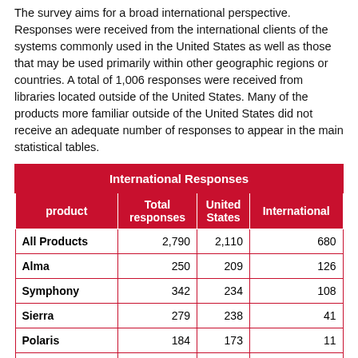The survey aims for a broad international perspective. Responses were received from the international clients of the systems commonly used in the United States as well as those that may be used primarily within other geographic regions or countries. A total of 1,006 responses were received from libraries located outside of the United States. Many of the products more familiar outside of the United States did not receive an adequate number of responses to appear in the main statistical tables.
| product | Total responses | United States | International |
| --- | --- | --- | --- |
| All Products | 2,790 | 2,110 | 680 |
| Alma | 250 | 209 | 126 |
| Symphony | 342 | 234 | 108 |
| Sierra | 279 | 238 | 41 |
| Polaris | 184 | 173 | 11 |
| VERSO | 146 | 146 | 0 |
| WorldShare Management | 124 | 96 | 28 |